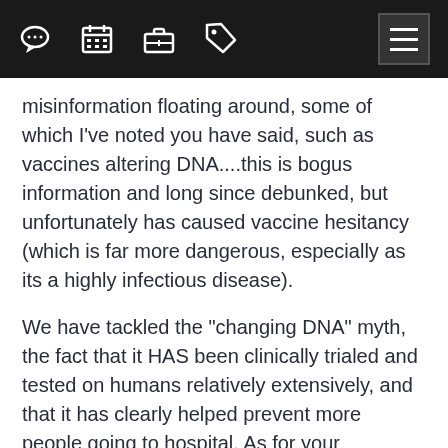[Navigation bar with chat, calendar, briefcase, tag icons and hamburger menu]
misinformation floating around, some of which I've noted you have said, such as vaccines altering DNA....this is bogus information and long since debunked, but unfortunately has caused vaccine hesitancy (which is far more dangerous, especially as its a highly infectious disease).
We have tackled the "changing DNA" myth, the fact that it HAS been clinically trialed and tested on humans relatively extensively, and that it has clearly helped prevent more people going to hospital. As for your comments about chloroquine/hydroxychloroquine et al, these are quite strong medicines with side-effects - would you rather take these over a vaccine which has far more supporting evidence to show its efficacy and safety? They might have some benefits in treating hospitalised covid patients, but its certainly not a prevention, and are powerful drugs that can do more harm than good (unless you're treating malaria). A lot of these claims of miracle